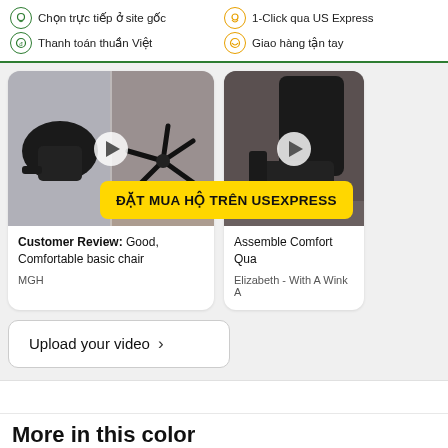Chọn trực tiếp ở site gốc | Thanh toán thuần Việt | 1-Click qua US Express | Giao hàng tận tay
[Figure (screenshot): Two video review cards of office chairs. Left card shows underside of black office chair and its five-point base. Right card shows side view of black leather office chair. Both have play buttons.]
ĐẶT MUA HỘ TRÊN USEXPRESS
Customer Review: Good, Comfortable basic chair
MGH
Assemble Comfort Qua
Elizabeth - With A Wink A
Upload your video >
More in this color